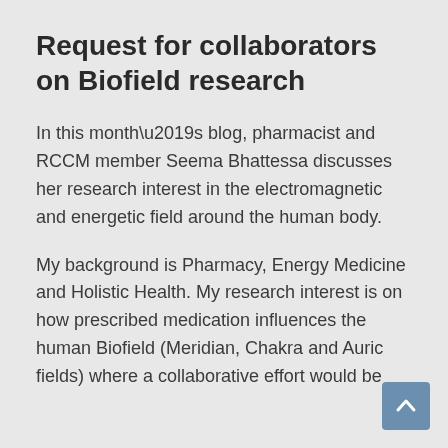Request for collaborators on Biofield research
In this month’s blog, pharmacist and RCCM member Seema Bhattessa discusses her research interest in the electromagnetic and energetic field around the human body.
My background is Pharmacy, Energy Medicine and Holistic Health. My research interest is on how prescribed medication influences the human Biofield (Meridian, Chakra and Auric fields) where a collaborative effort would be